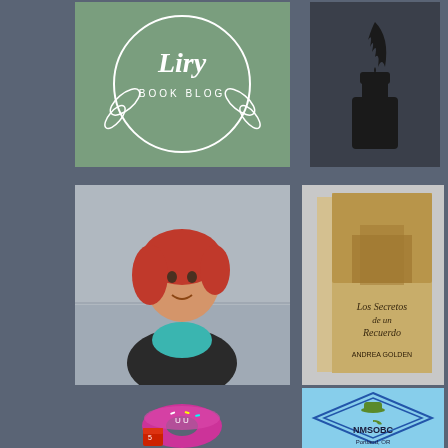[Figure (logo): Book blog logo - circular green badge with leaf design and text 'BOOK BLOG' in white]
[Figure (illustration): Silhouette of an ink bottle with a feather quill on dark background]
[Figure (photo): Woman with red hair wearing teal scarf and black jacket, outdoors near water, black and white background]
[Figure (photo): Book cover of 'Los Secretos de un Recuerdo' by Andrea Golden - golden/green toned cover with ornate building and script title]
[Figure (illustration): Cartoon pink/purple donut character holding a red coffee cup, with happy face]
[Figure (logo): NMSOBC Portland, OR logo - light blue background with geometric hexagon/diamond shape, green detective hat and pipe icon, text reads NMSOBC Portland, OR]